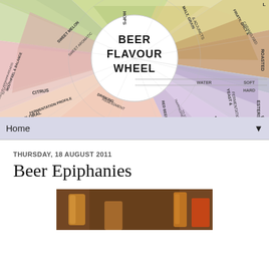[Figure (illustration): Beer Flavour Wheel diagram showing a circular chart divided into sections including Hops, Malt/Grain & Adjuncts, Fruity/Spicy & Caramelised, Roasted, Water (Soft/Hard), Yeast & Fermentation, Esters, Phenols, Brett, Fermentation Profile, Drinking Assessment, Mouthfeel & Balance. Center circle reads BEER FLAVOUR WHEEL.]
Home
THURSDAY, 18 AUGUST 2011
Beer Epiphanies
[Figure (photo): Photo of beer glasses and bottles at a bar or pub setting]